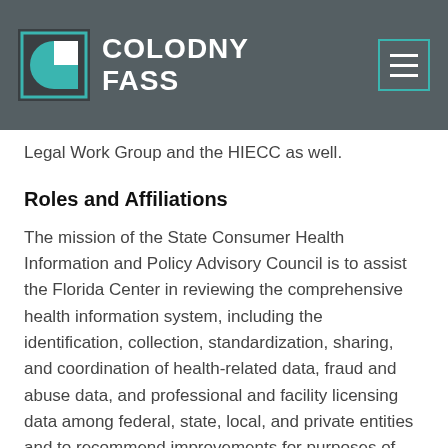COLODNY FASS
Legal Work Group and the HIECC as well.
Roles and Affiliations
The mission of the State Consumer Health Information and Policy Advisory Council is to assist the Florida Center in reviewing the comprehensive health information system, including the identification, collection, standardization, sharing, and coordination of health-related data, fraud and abuse data, and professional and facility licensing data among federal, state, local, and private entities and to recommend improvements for purposes of